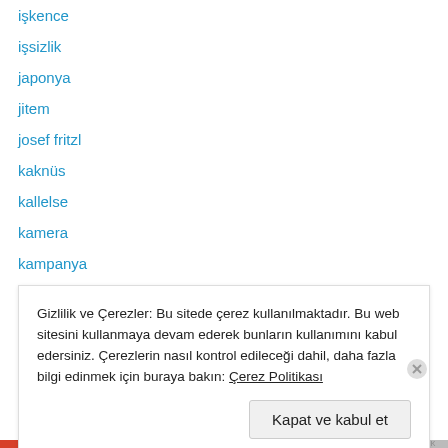işkence
işsizlik
japonya
jitem
josef fritzl
kaknüs
kallelse
kamera
kampanya
karaburun
karta
kärlek
kültür
Gizlilik ve Çerezler: Bu sitede çerez kullanılmaktadır. Bu web sitesini kullanmaya devam ederek bunların kullanımını kabul edersiniz. Çerezlerin nasıl kontrol edileceği dahil, daha fazla bilgi edinmek için buraya bakın: Çerez Politikası
Kapat ve kabul et